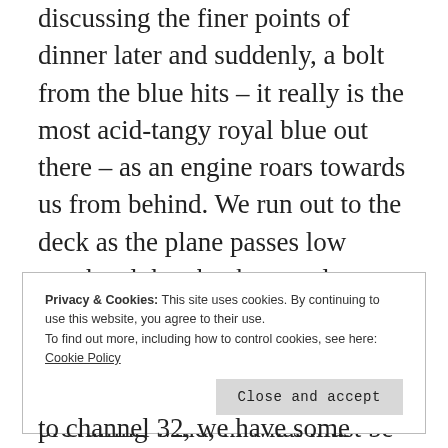discussing the finer points of dinner later and suddenly, a bolt from the blue hits – it really is the most acid-tangy royal blue out there – as an engine roars towards us from behind. We run out to the deck as the plane passes low overhead then banks steeply upwards and away. It appears and leaves, its loud hum carried cleanly away from us by prevailing wind, in what must be ten seconds flat.
Privacy & Cookies: This site uses cookies. By continuing to use this website, you agree to their use. To find out more, including how to control cookies, see here: Cookie Policy
to channel 32, we have some routine